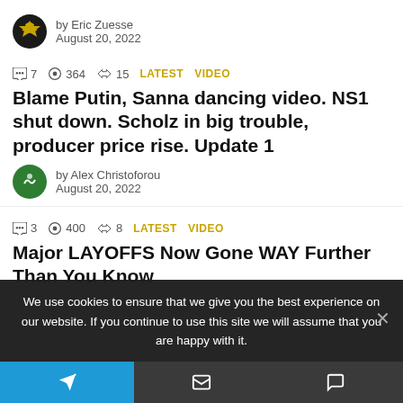by Eric Zuesse
August 20, 2022
7  364  15  LATEST  VIDEO
Blame Putin, Sanna dancing video. NS1 shut down. Scholz in big trouble, producer price rise. Update 1
by Alex Christoforou
August 20, 2022
3  400  8  LATEST  VIDEO
Major LAYOFFS Now Gone WAY Further Than You Know
We use cookies to ensure that we give you the best experience on our website. If you continue to use this site we will assume that you are happy with it.